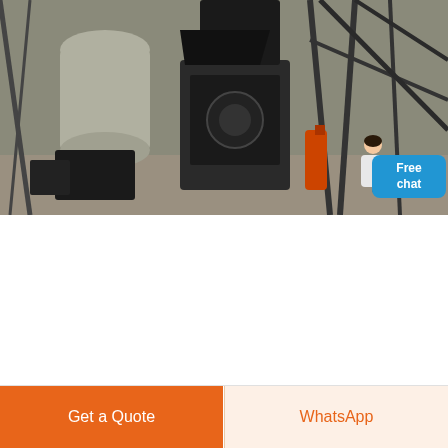[Figure (photo): Industrial hammer mill machinery inside a factory/warehouse with large metal structures, silos, conveyors, and equipment on a concrete floor.]
Hammer Mills For Sale In AustraliaNew Used
It also has a vibratory feeder tray driven by a 1hp 9 091 ex gst vic view listing quoted to customer spec 3 new zerma hammer mill for plastic e waste wood the zerma fixed hammer hammer mills are built tough and built to last whatever the application the zerma zhm type hammer mill was 85 000 ex gst.
Chat Online